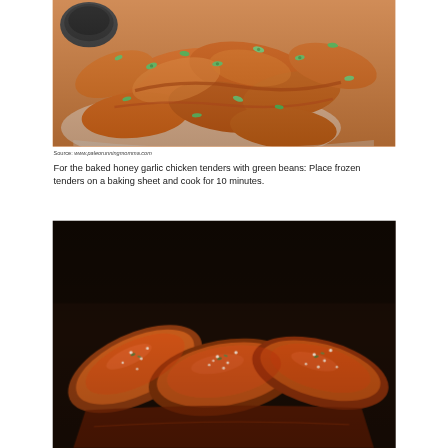[Figure (photo): Close-up photo of baked honey garlic chicken tenders topped with sliced green onions on a white plate, with a small bowl of dark sauce visible in the upper left corner.]
Source: www.paleorunningmomma.com
For the baked honey garlic chicken tenders with green beans: Place frozen tenders on a baking sheet and cook for 10 minutes.
[Figure (photo): Close-up photo of glazed honey garlic chicken tenders in a dark skillet, glistening with sauce and garnished with sesame seeds and chopped herbs.]